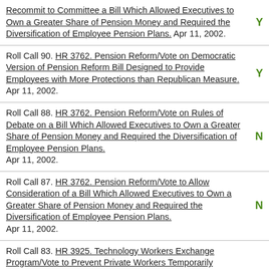Recommit to Committee a Bill Which Allowed Executives to Own a Greater Share of Pension Money and Required the Diversification of Employee Pension Plans. Apr 11, 2002.
Roll Call 90. HR 3762. Pension Reform/Vote on Democratic Version of Pension Reform Bill Designed to Provide Employees with More Protections than Republican Measure. Apr 11, 2002.
Roll Call 88. HR 3762. Pension Reform/Vote on Rules of Debate on a Bill Which Allowed Executives to Own a Greater Share of Pension Money and Required the Diversification of Employee Pension Plans. Apr 11, 2002.
Roll Call 87. HR 3762. Pension Reform/Vote to Allow Consideration of a Bill Which Allowed Executives to Own a Greater Share of Pension Money and Required the Diversification of Employee Pension Plans. Apr 11, 2002.
Roll Call 83. HR 3925. Technology Workers Exchange Program/Vote to Prevent Private Workers Temporarily